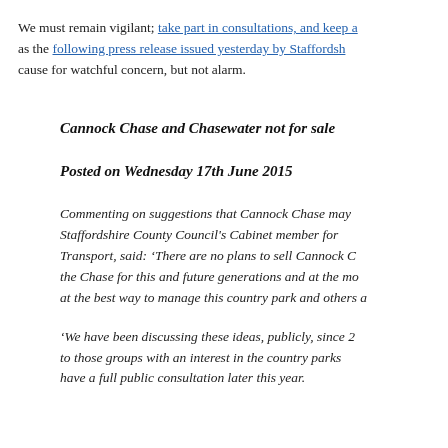We must remain vigilant; take part in consultations, and keep a … as the following press release issued yesterday by Staffordshire … cause for watchful concern, but not alarm.
Cannock Chase and Chasewater not for sale
Posted on Wednesday 17th June 2015
Commenting on suggestions that Cannock Chase may … Staffordshire County Council's Cabinet member for … Transport, said: 'There are no plans to sell Cannock C… the Chase for this and future generations and at the mo… at the best way to manage this country park and others a…
'We have been discussing these ideas, publicly, since 2… to those groups with an interest in the country parks … have a full public consultation later this year.